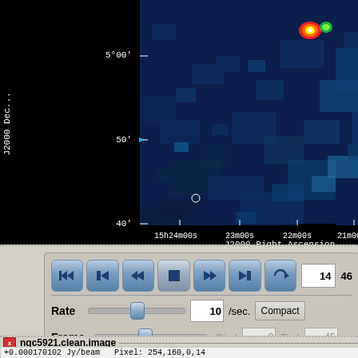[Figure (other): Astronomical radio image showing NGC5921 field. False-color image with black background, blue/cyan noise field, and a bright red/yellow/green source in upper right. Y-axis shows J2000 Declination (5°00', 50', 40'), X-axis shows J2000 Right Ascension (15h24m00s, 23m00s, 22m00s, 21m00s). White coordinate grid lines visible. Small circle marker at lower left region.]
[Figure (screenshot): CASA viewer animation controls panel. Seven navigation buttons (rewind, step back, back, stop, forward, step forward, loop), frame number display showing 14 and 46. Rate slider set to 10 /sec. Compact button. Frame slider with Start 0 and End 45 inputs.]
ngc5921.clean.image
+0.000170102 Jy/beam  Pixel: 254,160,0,14